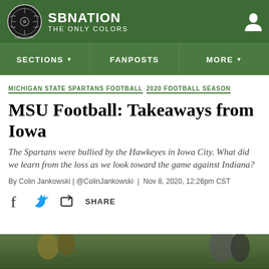SB NATION - THE ONLY COLORS
SECTIONS | FANPOSTS | MORE
MICHIGAN STATE SPARTANS FOOTBALL  2020 FOOTBALL SEASON
MSU Football: Takeaways from Iowa
The Spartans were bullied by the Hawkeyes in Iowa City. What did we learn from the loss as we look toward the game against Indiana?
By Colin Jankowski | @ColinJankowski | Nov 8, 2020, 12:26pm CST
SHARE
[Figure (photo): Bottom strip showing football players/game photo]